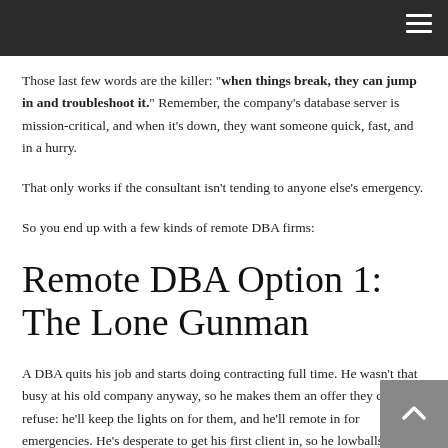Those last few words are the killer: "when things break, they can jump in and troubleshoot it." Remember, the company's database server is mission-critical, and when it's down, they want someone quick, fast, and in a hurry.
That only works if the consultant isn't tending to anyone else's emergency.
So you end up with a few kinds of remote DBA firms:
Remote DBA Option 1: The Lone Gunman
A DBA quits his job and starts doing contracting full time. He wasn't that busy at his old company anyway, so he makes them an offer they can't refuse: he'll keep the lights on for them, and he'll remote in for emergencies. He's desperate to get his first client in, so he lowballs them on a retainer and hourly fee. He's